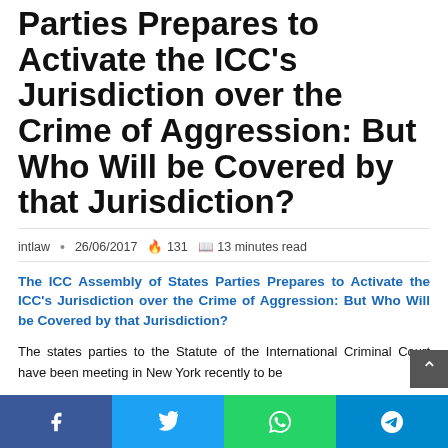Parties Prepares to Activate the ICC's Jurisdiction over the Crime of Aggression: But Who Will be Covered by that Jurisdiction?
intlaw · 26/06/2017 🔥 131 📖 13 minutes read
The ICC Assembly of States Parties Prepares to Activate the ICC's Jurisdiction over the Crime of Aggression: But Who Will be Covered by that Jurisdiction?
The states parties to the Statute of the International Criminal Court have been meeting in New York recently to be…